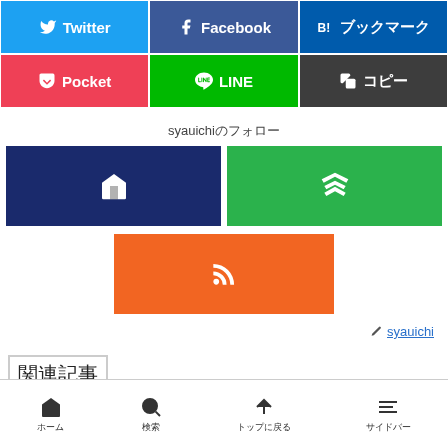[Figure (screenshot): Share buttons row 1: Twitter, Facebook, Hatena B!ブックマーク]
[Figure (screenshot): Share buttons row 2: Pocket, LINE, コピー]
syauichiのフォロー
[Figure (screenshot): Follow buttons: home icon, Feedly icon, RSS icon]
✏ syauichi
関連記事
ホーム | 検索 | トップに戻る | サイドバー